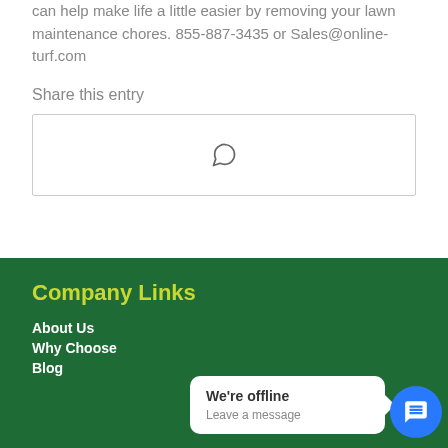can help make life a little easier by removing your lawn maintenance chores. 855-887-3435 or Sales@online-turf.com
Share this entry
[Figure (other): Share box with WhatsApp icon]
Company Links
About Us
Why Choose
Blog
We're offline
Leave a message